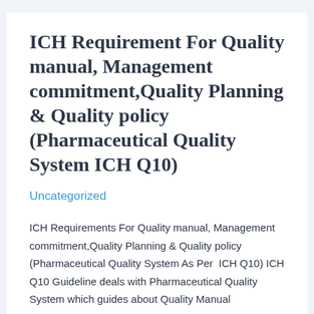ICH Requirement For Quality manual, Management commitment,Quality Planning & Quality policy (Pharmaceutical Quality System ICH Q10)
Uncategorized
ICH Requirements For Quality manual, Management commitment,Quality Planning & Quality policy (Pharmaceutical Quality System As Per  ICH Q10) ICH Q10 Guideline deals with Pharmaceutical Quality System which guides about Quality Manual